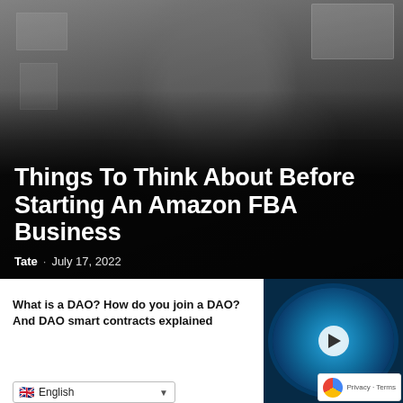[Figure (photo): Hero image: person seen from behind looking at papers/whiteboards on a wall, with a dark overlay and large white text overlay of the article title and metadata]
Things To Think About Before Starting An Amazon FBA Business
Tate · July 17, 2022
What is a DAO? How do you join a DAO? And DAO smart contracts explained
[Figure (photo): Thumbnail image with blue circular graphic and play button overlay, related article thumbnail]